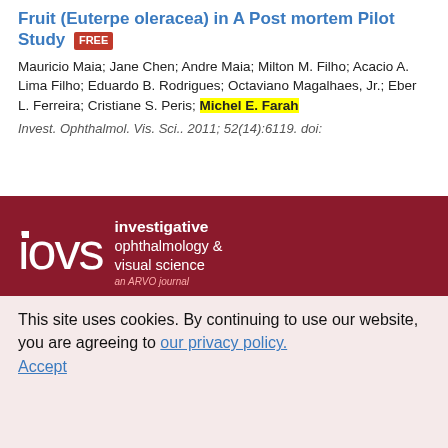Fruit (Euterpe oleracea) in A Post mortem Pilot Study FREE
Mauricio Maia; Jane Chen; Andre Maia; Milton M. Filho; Acacio A. Lima Filho; Eduardo B. Rodrigues; Octaviano Magalhaes, Jr.; Eber L. Ferreira; Cristiane S. Peris; Michel E. Farah
Invest. Ophthalmol. Vis. Sci.. 2011; 52(14):6119. doi:
1 2 Next ›
[Figure (logo): IOVS - Investigative Ophthalmology & Visual Science journal logo on dark red background with tagline 'an ARVO journal']
This site uses cookies. By continuing to use our website, you are agreeing to our privacy policy. Accept